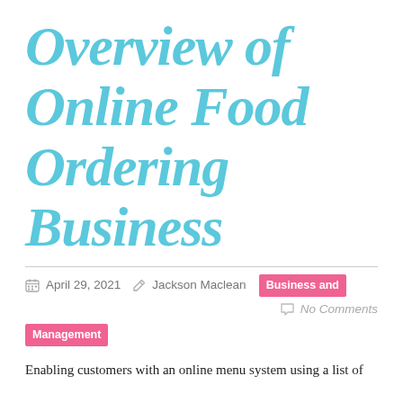Overview of Online Food Ordering Business
April 29, 2021  Jackson Maclean  Business and Management  No Comments
Enabling customers with an online menu system using a list of